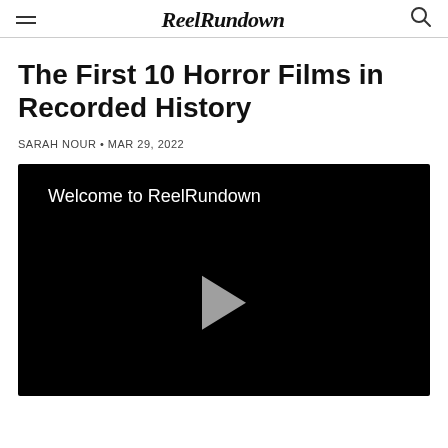Reel Rundown
The First 10 Horror Films in Recorded History
SARAH NOUR • MAR 29, 2022
[Figure (screenshot): Video player with black background showing text 'Welcome to ReelRundown' and a play button triangle in the center]